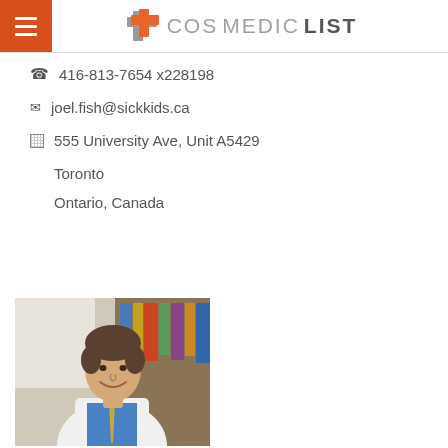COSMEDICLIST
416-813-7654 x228198
joel.fish@sickkids.ca
555 University Ave, Unit A5429
Toronto
Ontario, Canada
[Figure (photo): Professional headshot of a male doctor wearing a white lab coat and blue shirt, smiling, with bookshelves in the background]